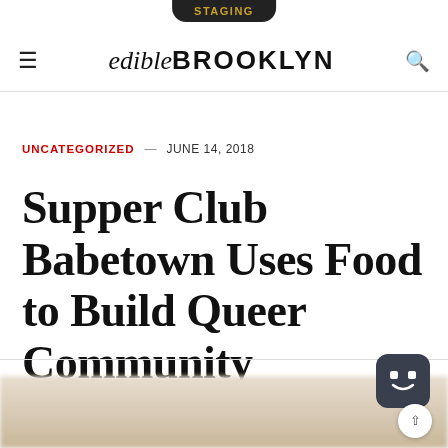STAGING
edible BROOKLYN
UNCATEGORIZED — JUNE 14, 2018
Supper Club Babetown Uses Food to Build Queer Community
[Figure (photo): Blurred photograph visible at bottom of page, appearing to show people at a dining or event setting]